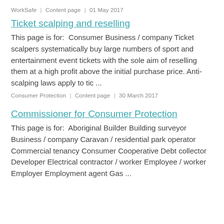WorkSafe | Content page | 01 May 2017
Ticket scalping and reselling
This page is for:  Consumer Business / company Ticket scalpers systematically buy large numbers of sport and entertainment event tickets with the sole aim of reselling them at a high profit above the initial purchase price. Anti-scalping laws apply to tic ...
Consumer Protection | Content page | 30 March 2017
Commissioner for Consumer Protection
This page is for:  Aboriginal Builder Building surveyor Business / company Caravan / residential park operator Commercial tenancy Consumer Cooperative Debt collector Developer Electrical contractor / worker Employee / worker Employer Employment agent Gas ...